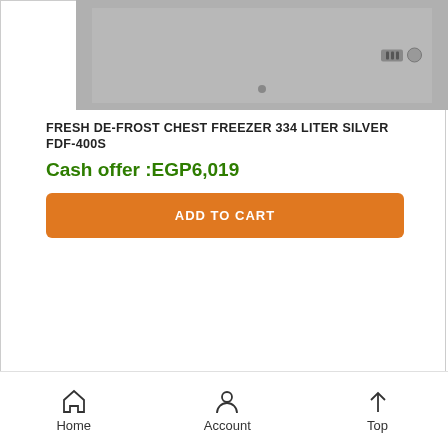[Figure (photo): Product image of a chest freezer, silver/grey color, shown cropped at top]
FRESH DE-FROST CHEST FREEZER 334 LITER SILVER FDF-400S
Cash offer :EGP6,019
ADD TO CART
Home    Account    Top